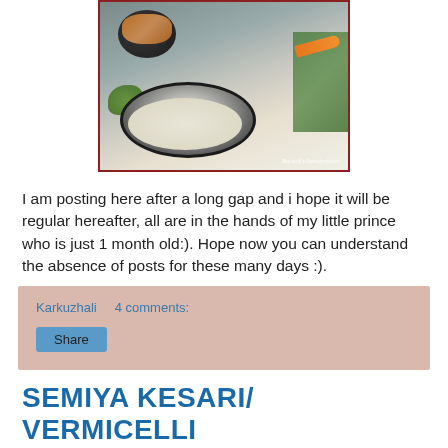[Figure (photo): Food photo showing a black bowl with curry on top-left and a black plate with vermicelli/rice dish in the foreground, with carrots, herbs, and a green cloth, watermark reading Ruchalf's Samaiyalantri]
I am posting here after a long gap and i hope it will be regular hereafter, all are in the hands of my little prince who is just 1 month old:). Hope now you can understand the absence of posts for these many days :).
Karkuzhali   4 comments:
Share
SEMIYA KESARI/ VERMICELLI